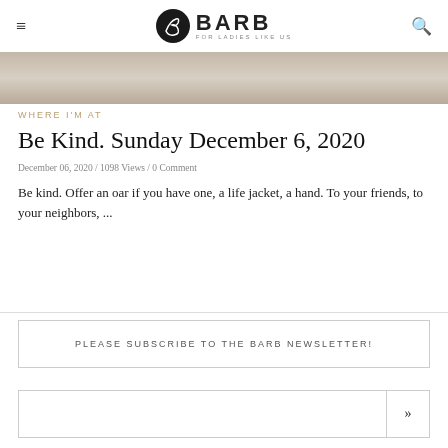BARB FOR LADIES LIKE US
[Figure (photo): Hero image with textured beige/brown background, partial view]
WHERE I'M AT
Be Kind. Sunday December 6, 2020
December 06, 2020 / 1098 Views / 0 Comment
Be kind. Offer an oar if you have one, a life jacket, a hand. To your friends, to your neighbors, ...
PLEASE SUBSCRIBE TO THE BARB NEWSLETTER!
»